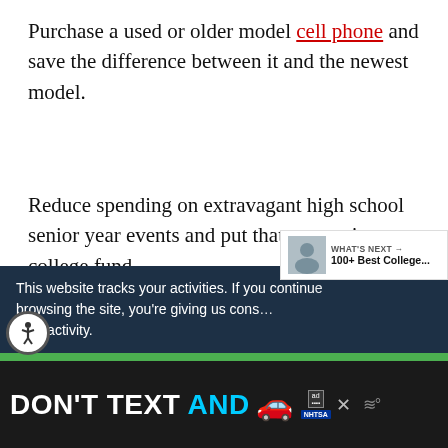Purchase a used or older model cell phone and save the difference between it and the newest model.
Reduce spending on extravagant high school senior year events and put that money in your college fund.
Take 10 minutes and calculate how much you...
This website tracks your activities. If you continue browsing the site, you're giving us cons... your activity.
[Figure (screenshot): Advertisement banner: DON'T TEXT AND [car icon] with NHTSA branding and ad badge. Accessibility icon and close button also visible.]